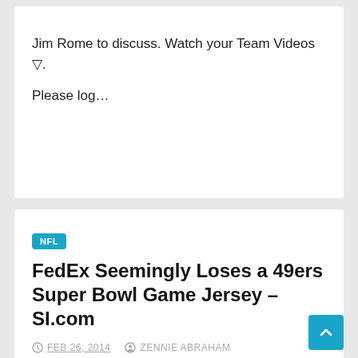Jim Rome to discuss. Watch your Team Videos ▽.
Please log…
NFL
FedEx Seemingly Loses a 49ers Super Bowl Game Jersey – SI.com
FEB 26, 2014   ZENNIE ABRAHAM
FedEx Seemingly Loses a 49ers Super Bowl Game JerseySI.comFedEx has lost track of the Super Bowl XLVII game jersey of Nate Stupar, a linebacker who now with the Jaguars,...